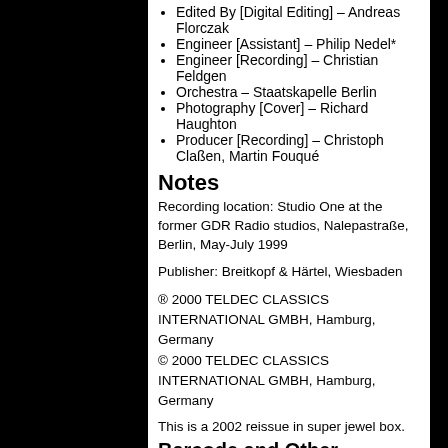Edited By [Digital Editing] – Andreas Florczak
Engineer [Assistant] – Philip Nedel*
Engineer [Recording] – Christian Feldgen
Orchestra – Staatskapelle Berlin
Photography [Cover] – Richard Haughton
Producer [Recording] – Christoph Claßen, Martin Fouqué
Notes
Recording location: Studio One at the former GDR Radio studios, Nalepastraße, Berlin, May-July 1999
Publisher: Breitkopf & Härtel, Wiesbaden
® 2000 TELDEC CLASSICS INTERNATIONAL GMBH, Hamburg, Germany
© 2000 TELDEC CLASSICS INTERNATIONAL GMBH, Hamburg, Germany
This is a 2002 reissue in super jewel box.
Barcode and Other Identifiers
Barcode: 6 8573-83062-9 9
Other versions
| Category | Artist | Title (Format) | La |
| --- | --- | --- | --- |
|  |  |  |  |